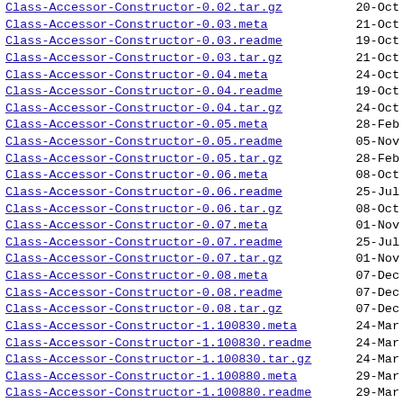Class-Accessor-Constructor-0.02.tar.gz  20-Oct
Class-Accessor-Constructor-0.03.meta  21-Oct
Class-Accessor-Constructor-0.03.readme  19-Oct
Class-Accessor-Constructor-0.03.tar.gz  21-Oct
Class-Accessor-Constructor-0.04.meta  24-Oct
Class-Accessor-Constructor-0.04.readme  19-Oct
Class-Accessor-Constructor-0.04.tar.gz  24-Oct
Class-Accessor-Constructor-0.05.meta  28-Feb
Class-Accessor-Constructor-0.05.readme  05-Nov
Class-Accessor-Constructor-0.05.tar.gz  28-Feb
Class-Accessor-Constructor-0.06.meta  08-Oct
Class-Accessor-Constructor-0.06.readme  25-Jul
Class-Accessor-Constructor-0.06.tar.gz  08-Oct
Class-Accessor-Constructor-0.07.meta  01-Nov
Class-Accessor-Constructor-0.07.readme  25-Jul
Class-Accessor-Constructor-0.07.tar.gz  01-Nov
Class-Accessor-Constructor-0.08.meta  07-Dec
Class-Accessor-Constructor-0.08.readme  07-Dec
Class-Accessor-Constructor-0.08.tar.gz  07-Dec
Class-Accessor-Constructor-1.100830.meta  24-Mar
Class-Accessor-Constructor-1.100830.readme  24-Mar
Class-Accessor-Constructor-1.100830.tar.gz  24-Mar
Class-Accessor-Constructor-1.100880.meta  29-Mar
Class-Accessor-Constructor-1.100880.readme  29-Mar
Class-Accessor-Constructor-1.100880.tar.gz  29-Mar
Class-Accessor-Constructor-1.111590.meta  08-Jun
Class-Accessor-Constructor-1.111590.readme  08-Jun
Class-Accessor-Constructor-1.111590.tar.gz  08-Jun
Class-Accessor-FactoryTyped-0.01.meta  21-Oct
Class-Accessor-FactoryTyped-0.01.readme  19-Oct